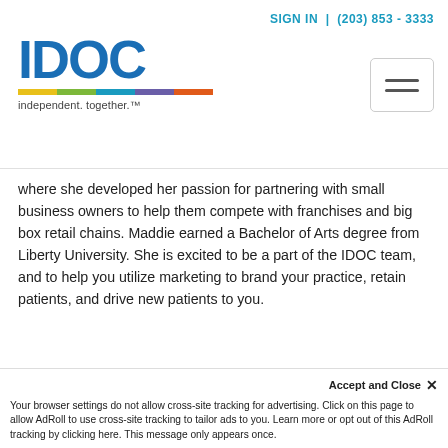SIGN IN | (203) 853 - 3333
[Figure (logo): IDOC logo with colorful bar and tagline 'independent. together.']
where she developed her passion for partnering with small business owners to help them compete with franchises and big box retail chains. Maddie earned a Bachelor of Arts degree from Liberty University. She is excited to be a part of the IDOC team, and to help you utilize marketing to brand your practice, retain patients, and drive new patients to you.
marketingservices@idoc.net
LinkedIn
Trending Blogs
Your browser settings do not allow cross-site tracking for advertising. Click on this page to allow AdRoll to use cross-site tracking to tailor ads to you. Learn more or opt out of this AdRoll tracking by clicking here. This message only appears once.